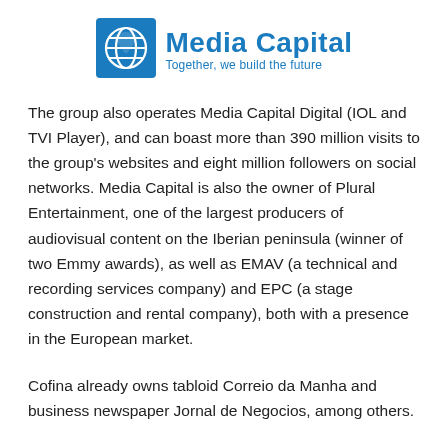[Figure (logo): Media Capital logo with blue globe icon and text 'Media Capital / Together, we build the future']
The group also operates Media Capital Digital (IOL and TVI Player), and can boast more than 390 million visits to the group's websites and eight million followers on social networks. Media Capital is also the owner of Plural Entertainment, one of the largest producers of audiovisual content on the Iberian peninsula (winner of two Emmy awards), as well as EMAV (a technical and recording services company) and EPC (a stage construction and rental company), both with a presence in the European market.
Cofina already owns tabloid Correio da Manha and business newspaper Jornal de Negocios, among others.
A Cofina spokesperson said: "This acquisition fits with th